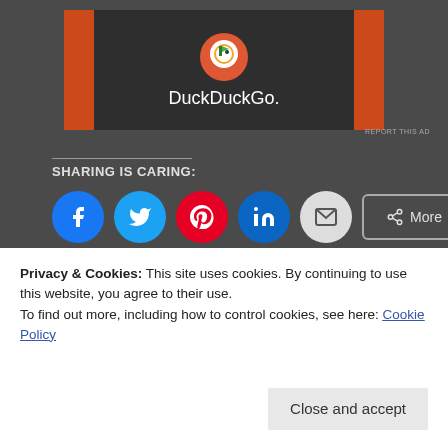[Figure (other): DuckDuckGo advertisement banner with orange side panels and DuckDuckGo logo and text on dark background]
REPORT THIS AD
SHARING IS CARING:
[Figure (other): Social sharing buttons: Facebook, Twitter, Pinterest, LinkedIn, Email circles and a More button]
Loading...
Related
Privacy & Cookies: This site uses cookies. By continuing to use this website, you agree to their use.
To find out more, including how to control cookies, see here: Cookie Policy
Close and accept
– Week 45
– Week 46